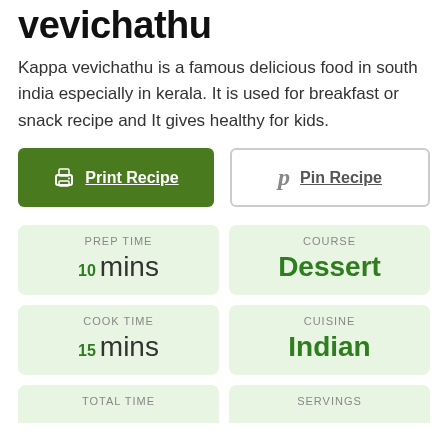vevichathu
Kappa vevichathu is a famous delicious food in south india especially in kerala. It is used for breakfast or snack recipe and It gives healthy for kids.
Print Recipe
Pin Recipe
PREP TIME
10 mins
COURSE
Dessert
COOK TIME
15 mins
CUISINE
Indian
TOTAL TIME
SERVINGS